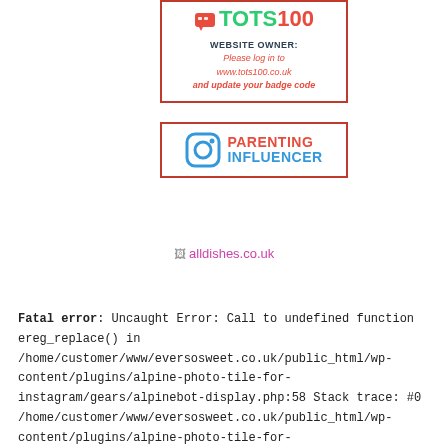[Figure (other): TOTS100 badge widget showing logo with speech bubble icon, green TOTS and red 100 text, WEBSITE OWNER: label in dark, and red italic message 'Please log in to www.tots100.co.uk and update your badge code']
[Figure (other): Parenting Influencer badge with Instagram camera icon on left, PARENTING in red bold and INFLUENCER in blue bold text on right, surrounded by red border]
alldishes.co.uk
Fatal error: Uncaught Error: Call to undefined function ereg_replace() in /home/customer/www/eversosweet.co.uk/public_html/wp-content/plugins/alpine-photo-tile-for-instagram/gears/alpinebot-display.php:58 Stack trace: #0 /home/customer/www/eversosweet.co.uk/public_html/wp-content/plugins/alpine-photo-tile-for-instagram/gears/alpinebot-